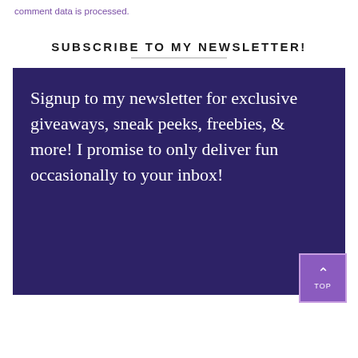comment data is processed.
SUBSCRIBE TO MY NEWSLETTER!
Signup to my newsletter for exclusive giveaways, sneak peeks, freebies, & more! I promise to only deliver fun occasionally to your inbox!